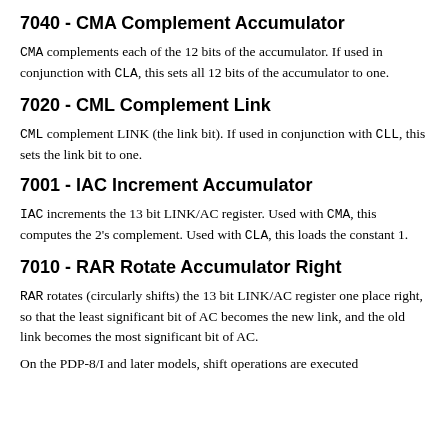7040 - CMA Complement Accumulator
CMA complements each of the 12 bits of the accumulator. If used in conjunction with CLA, this sets all 12 bits of the accumulator to one.
7020 - CML Complement Link
CML complement LINK (the link bit). If used in conjunction with CLL, this sets the link bit to one.
7001 - IAC Increment Accumulator
IAC increments the 13 bit LINK/AC register. Used with CMA, this computes the 2's complement. Used with CLA, this loads the constant 1.
7010 - RAR Rotate Accumulator Right
RAR rotates (circularly shifts) the 13 bit LINK/AC register one place right, so that the least significant bit of AC becomes the new link, and the old link becomes the most significant bit of AC.
On the PDP-8/I and later models, shift operations are executed